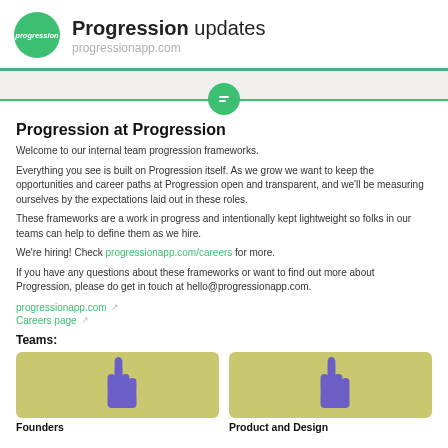Progression updates
progressionapp.com
Progression at Progression
Welcome to our internal team progression frameworks.
Everything you see is built on Progression itself. As we grow we want to keep the opportunities and career paths at Progression open and transparent, and we'll be measuring ourselves by the expectations laid out in these roles.
These frameworks are a work in progress and intentionally kept lightweight so folks in our teams can help to define them as we hire.
We're hiring! Check progressionapp.com/careers for more.
If you have any questions about these frameworks or want to find out more about Progression, please do get in touch at hello@progressionapp.com.
progressionapp.com
Careers page
Teams:
[Figure (illustration): Founders team card with purple hand illustration on olive/yellow background]
[Figure (illustration): Product and Design team card with purple hand illustration on olive/yellow background]